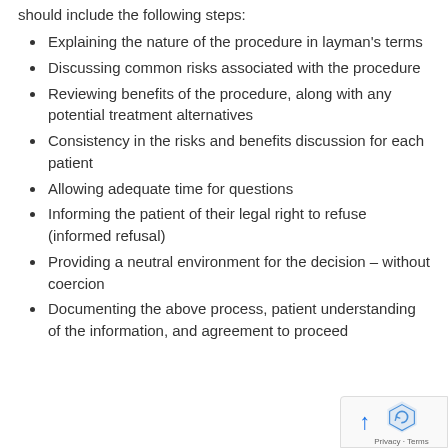should include the following steps:
Explaining the nature of the procedure in layman's terms
Discussing common risks associated with the procedure
Reviewing benefits of the procedure, along with any potential treatment alternatives
Consistency in the risks and benefits discussion for each patient
Allowing adequate time for questions
Informing the patient of their legal right to refuse (informed refusal)
Providing a neutral environment for the decision – without coercion
Documenting the above process, patient understanding of the information, and agreement to proceed